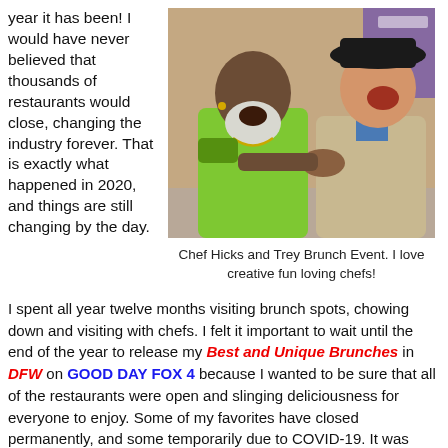year it has been! I would have never believed that thousands of restaurants would close, changing the industry forever. That is exactly what happened in 2020, and things are still changing by the day.
[Figure (photo): Two men laughing and shaking hands. One wears a bright green shirt, the other wears a tan jacket and black cowboy hat.]
Chef Hicks and Trey Brunch Event. I love creative fun loving chefs!
I spent all year twelve months visiting brunch spots, chowing down and visiting with chefs. I felt it important to wait until the end of the year to release my Best and Unique Brunches in DFW on GOOD DAY FOX 4 because I wanted to be sure that all of the restaurants were open and slinging deliciousness for everyone to enjoy. Some of my favorites have closed permanently, and some temporarily due to COVID-19. It was